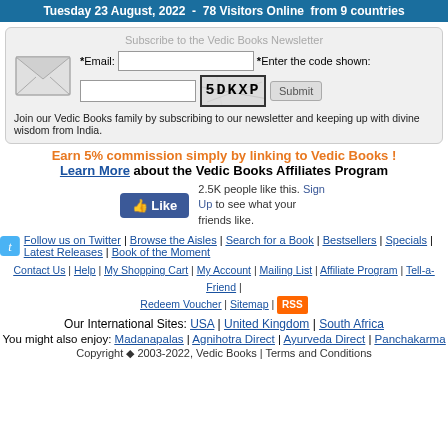Tuesday 23 August, 2022  -  78 Visitors Online  from 9 countries
Subscribe to the Vedic Books Newsletter
*Email: [input] *Enter the code shown: [captcha: 5DKXP] [Submit]
Join our Vedic Books family by subscribing to our newsletter and keeping up with divine wisdom from India.
Earn 5% commission simply by linking to Vedic Books ! Learn More about the Vedic Books Affiliates Program
2.5K people like this. Sign Up to see what your friends like.
Follow us on Twitter | Browse the Aisles | Search for a Book | Bestsellers | Specials | Latest Releases | Book of the Moment
Contact Us | Help | My Shopping Cart | My Account | Mailing List | Affiliate Program | Tell-a-Friend | Redeem Voucher | Sitemap | RSS
Our International Sites: USA | United Kingdom | South Africa
You might also enjoy: Madanapalas | Agnihotra Direct | Ayurveda Direct | Panchakarma
Copyright ◆ 2003-2022, Vedic Books | Terms and Conditions